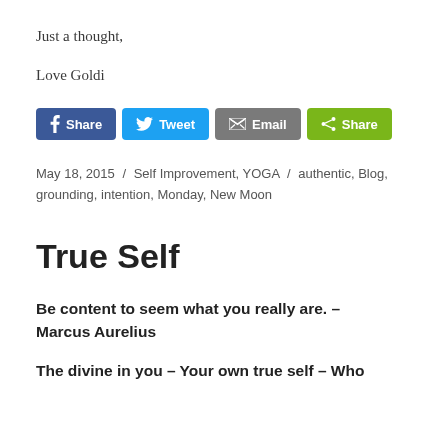Just a thought,
Love Goldi
[Figure (other): Social share buttons: Facebook Share, Twitter Tweet, Email, Share]
May 18, 2015 / Self Improvement, YOGA / authentic, Blog, grounding, intention, Monday, New Moon
True Self
Be content to seem what you really are. – Marcus Aurelius
The divine in you – Your own true self – Who